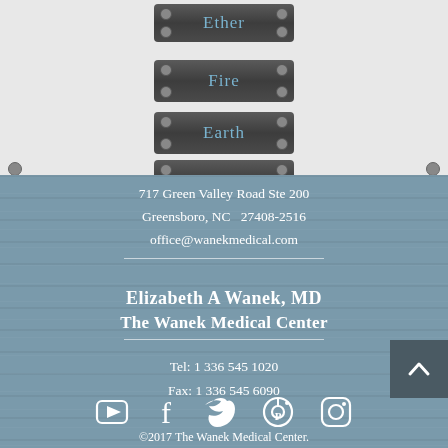[Figure (infographic): Navigation buttons labeled Ether, Fire, Earth, Water on dark gray metallic background with screw details, on light gray textured background]
717 Green Valley Road Ste 200
Greensboro, NC  27408-2516
office@wanekmedical.com
Elizabeth A Wanek, MD
The Wanek Medical Center
Tel:  1 336 545 1020
Fax:  1 336 545 6090
[Figure (infographic): Social media icons: YouTube, Facebook, Twitter, Pinterest, Instagram]
©2017 The Wanek Medical Center.